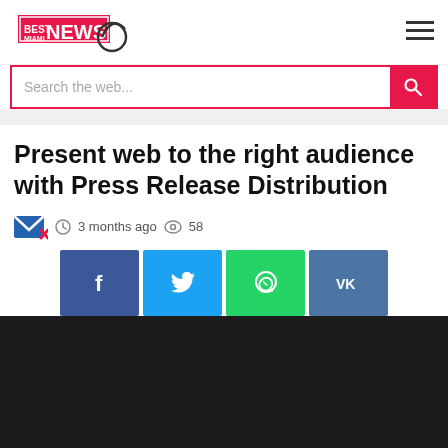Best Miami News
Search the web...
Present web to the right audience with Press Release Distribution
3 months ago   58
[Figure (screenshot): Social share buttons: Facebook (dark blue), Twitter (light blue), WhatsApp (green), VK (dark blue-gray)]
[Figure (photo): Dark/black section at the bottom of the page]